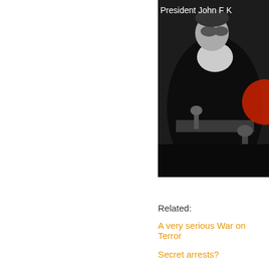[Figure (photo): Black and white photograph of President John F Kennedy at a desk or podium, with a red circular overlay element. Text overlay reads 'President John F K' (truncated).]
Related:
A very serious War on Terror
Secret arrests?
Possibly of interest: